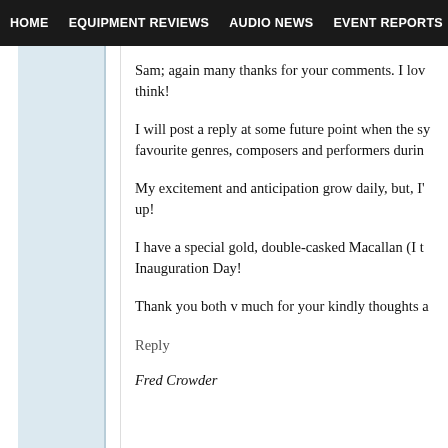HOME   EQUIPMENT REVIEWS   AUDIO NEWS   EVENT REPORTS   S
Sam; again many thanks for your comments. I lov think!
I will post a reply at some future point when the sy favourite genres, composers and performers durin
My excitement and anticipation grow daily, but, I' up!
I have a special gold, double-casked Macallan (I t Inauguration Day!
Thank you both v much for your kindly thoughts a
Reply
Fred Crowder